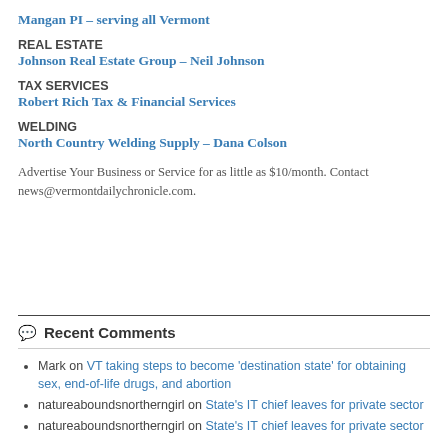Mangan PI – serving all Vermont
REAL ESTATE
Johnson Real Estate Group – Neil Johnson
TAX SERVICES
Robert Rich Tax & Financial Services
WELDING
North Country Welding Supply – Dana Colson
Advertise Your Business or Service for as little as $10/month. Contact news@vermontdailychronicle.com.
Recent Comments
Mark on VT taking steps to become 'destination state' for obtaining sex, end-of-life drugs, and abortion
natureaboundsnortherngirl on State's IT chief leaves for private sector
natureaboundsnortherngirl on State's IT chief leaves for private sector